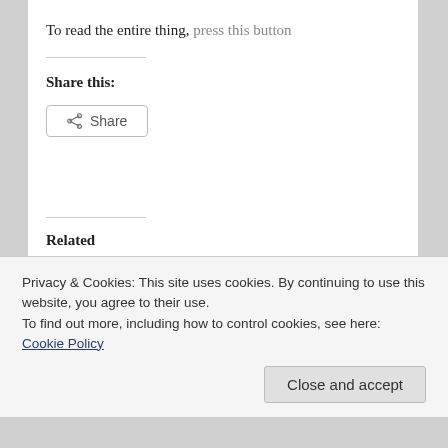To read the entire thing, press this button
Share this:
[Figure (other): Share button with share icon]
Related
China – Taiwan meeting
My take on Ma's National Day speech
Privacy & Cookies: This site uses cookies. By continuing to use this website, you agree to their use.
To find out more, including how to control cookies, see here:
Cookie Policy
Close and accept